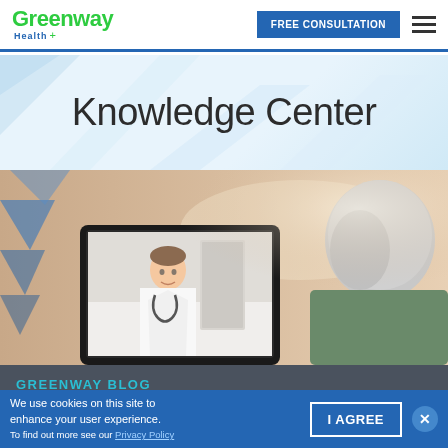Greenway Health — FREE CONSULTATION navigation header
Knowledge Center
[Figure (photo): Elderly patient participating in a telehealth video call, viewing a female doctor on a tablet screen. Background shows a wooden surface with geometric blue triangle graphics on the left side.]
GREENWAY BLOG
We use cookies on this site to enhance your user experience. To find out more see our Privacy Policy